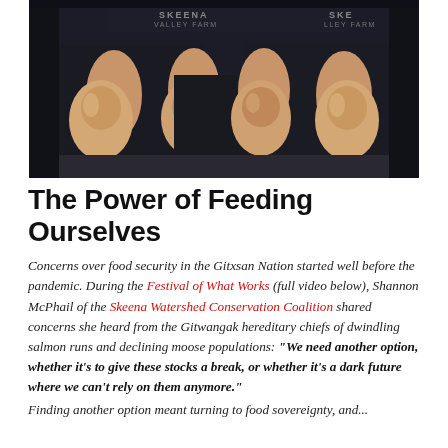[Figure (photo): Two people holding whole raw chickens in plastic bags, wearing dark sweatshirts with 'Skeena Valley Farm' text visible in the background signage.]
The Power of Feeding Ourselves
Concerns over food security in the Gitxsan Nation started well before the pandemic. During the Festival of What Works (full video below), Shannon McPhail of the Skeena Watershed Conservation Coalition shared concerns she heard from the Gitwangak hereditary chiefs of dwindling salmon runs and declining moose populations: "We need another option, whether it's to give these stocks a break, or whether it's a dark future where we can't rely on them anymore."
Finding another option meant turning to food sovereignty, and...